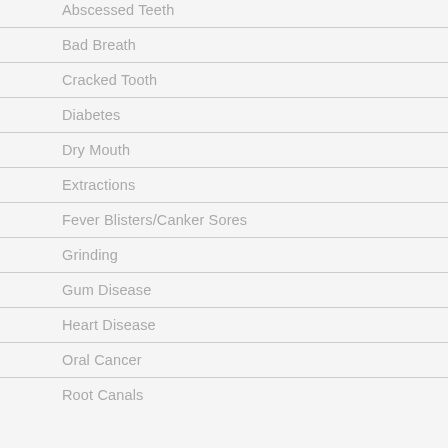Abscessed Teeth
Bad Breath
Cracked Tooth
Diabetes
Dry Mouth
Extractions
Fever Blisters/Canker Sores
Grinding
Gum Disease
Heart Disease
Oral Cancer
Root Canals